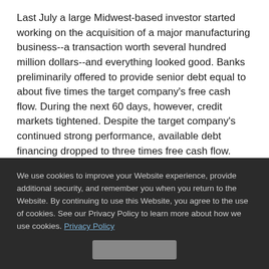Last July a large Midwest-based investor started working on the acquisition of a major manufacturing business--a transaction worth several hundred million dollars--and everything looked good. Banks preliminarily offered to provide senior debt equal to about five times the target company's free cash flow. During the next 60 days, however, credit markets tightened. Despite the target company's continued strong performance, available debt financing dropped to three times free cash flow. Nevertheless, the seller wouldn't hear of a significant price reduction, and the transaction fell apart.
We use cookies to improve your Website experience, provide additional security, and remember you when you return to the Website. By continuing to use this Website, you agree to the use of cookies. See our Privacy Policy to learn more about how we use cookies. Privacy Policy